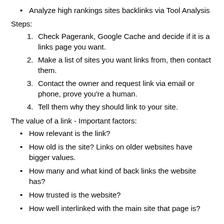Analyze high rankings sites backlinks via Tool Analysis
Steps:
Check Pagerank, Google Cache and decide if it is a links page you want.
Make a list of sites you want links from, then contact them.
Contact the owner and request link via email or phone, prove you're a human.
Tell them why they should link to your site.
The value of a link - Important factors:
How relevant is the link?
How old is the site? Links on older websites have bigger values.
How many and what kind of back links the website has?
How trusted is the website?
How well interlinked with the main site that page is?